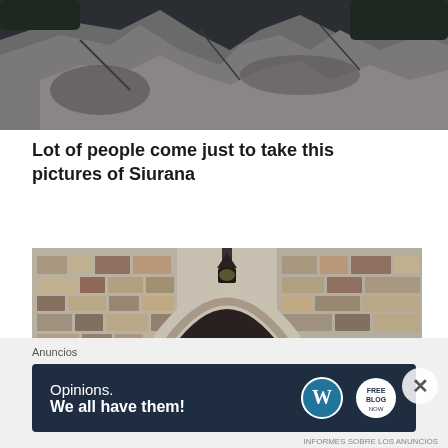[Figure (photo): Top portion of a rocky cliff or boulders, dark grey stone with some vegetation in background]
Lot of people come just to take this pictures of Siurana
[Figure (photo): Stone archway gateway in medieval village of Siurana, with cobblestone street passing through arch and stone buildings visible beyond]
Anuncios
[Figure (other): Advertisement banner: dark navy background with text 'Opinions. We all have them!' and WordPress logo and another circular logo on the right]